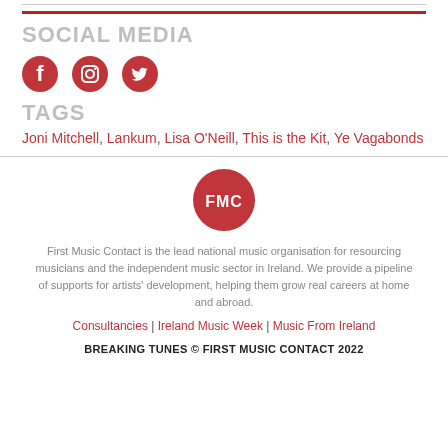SOCIAL MEDIA
[Figure (illustration): Social media icons: Facebook, Instagram, Twitter in red circles]
TAGS
Joni Mitchell, Lankum, Lisa O'Neill, This is the Kit, Ye Vagabonds
[Figure (logo): First Music Contact (FMC) red circular logo with white FMC text]
First Music Contact is the lead national music organisation for resourcing musicians and the independent music sector in Ireland. We provide a pipeline of supports for artists' development, helping them grow real careers at home and abroad.
Consultancies | Ireland Music Week | Music From Ireland
BREAKING TUNES © FIRST MUSIC CONTACT 2022